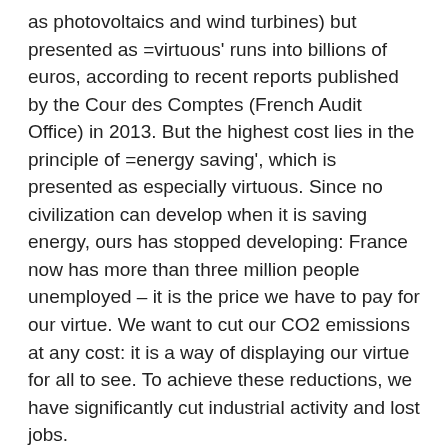as photovoltaics and wind turbines) but presented as =virtuous' runs into billions of euros, according to recent reports published by the Cour des Comptes (French Audit Office) in 2013. But the highest cost lies in the principle of =energy saving', which is presented as especially virtuous. Since no civilization can develop when it is saving energy, ours has stopped developing: France now has more than three million people unemployed – it is the price we have to pay for our virtue. We want to cut our CO2 emissions at any cost: it is a way of displaying our virtue for all to see. To achieve these reductions, we have significantly cut industrial activity and lost jobs.
But at least we have achieved our aim of cutting CO2 emissions, haven't we? The answer is laughable: apparently not. Global emissions of CO2 have continued to rise, including those generated by France in designing and manufacturing its own products, as the Cour des Comptes